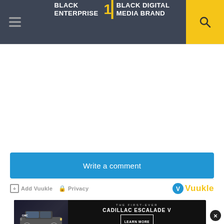BLACK ENTERPRISE – THE #1 BLACK DIGITAL MEDIA BRAND
Write a comment
Add Vuukle   Privacy   Vuukle
[Figure (screenshot): Advertisement for the first-ever Cadillac Escalade V with a dark background, car image on left, and Learn More button]